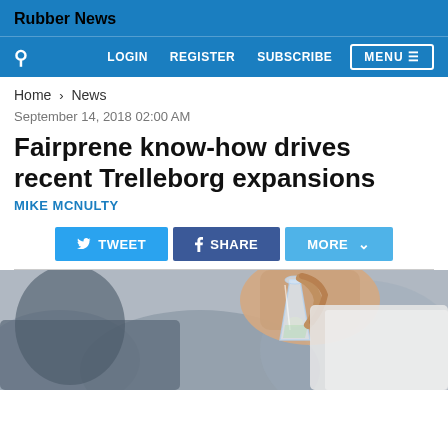Rubber News
LOGIN  REGISTER  SUBSCRIBE  MENU
Home > News
September 14, 2018 02:00 AM
Fairprene know-how drives recent Trelleborg expansions
MIKE MCNULTY
[Figure (screenshot): Social share buttons: TWEET, SHARE, MORE]
[Figure (photo): Person holding a glass laboratory flask/beaker, examining contents, indoor setting]